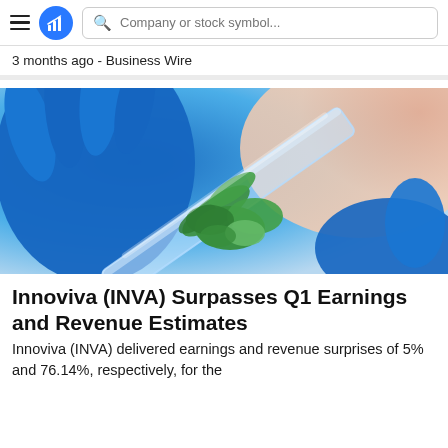Company or stock symbol...
3 months ago - Business Wire
[Figure (photo): Close-up of blue-gloved hands holding a glass container with green plant seedlings inside, laboratory setting]
Innoviva (INVA) Surpasses Q1 Earnings and Revenue Estimates
Innoviva (INVA) delivered earnings and revenue surprises of 5% and 76.14%, respectively, for the